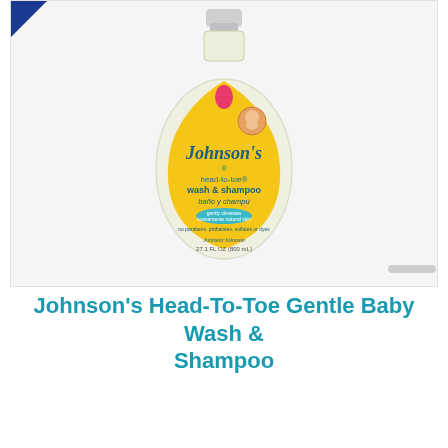[Figure (photo): Johnson's Head-To-Toe Wash & Shampoo bottle — a large clear bottle with a yellow teardrop-shaped label showing the Johnson's logo with baby icon, product name 'head-to-toe wash & shampoo / baño y champú', and a pink teardrop brand symbol at top. A blue triangular corner badge is in the top-left of the image frame.]
Johnson's Head-To-Toe Gentle Baby Wash & Shampoo